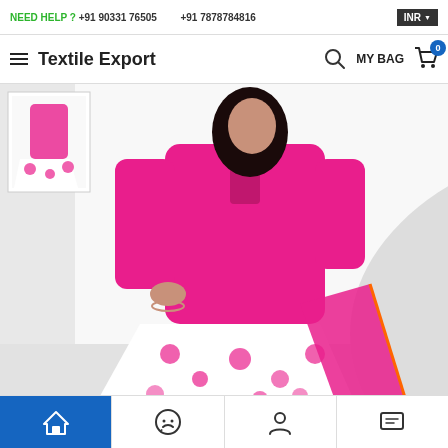NEED HELP ? +91 90331 76505   +91 7878784816   INR
Textile Export   MY BAG 0
[Figure (photo): A woman wearing a pink Indian salwar kameez with white floral printed dupatta and palazzo, sitting on a white chair. A thumbnail of the full outfit is shown in the top-left corner of the image.]
Home | WhatsApp | Account | Messages